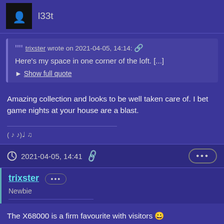l33t
trixster wrote on 2021-04-05, 14:14: Here's my space in one corner of the loft. [...] Show full quote
Amazing collection and looks to be well taken care of. I bet game nights at your house are a blast.
( ♪ ♪) ♩ ♫
2021-04-05, 14:41
trixster Newbie
The X68000 is a firm favourite with visitors 😀